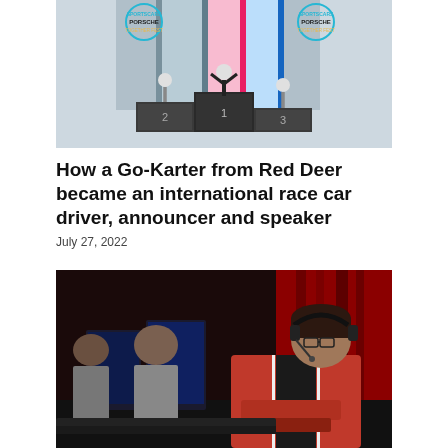[Figure (photo): Podium ceremony photo at Porsche Sportscars Together Fest event, with three race car drivers on positions 1, 2, and 3, in front of striped blue and pink backdrops with Porsche logos]
How a Go-Karter from Red Deer became an international race car driver, announcer and speaker
July 27, 2022
[Figure (photo): Esports players wearing headsets and red/black team jerseys, seated at gaming computers in a darkly lit arena with red background lighting]